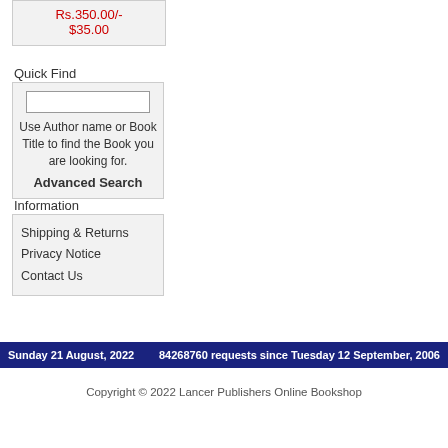Rs.350.00/-
$35.00
Quick Find
Use Author name or Book Title to find the Book you are looking for.
Advanced Search
Information
Shipping & Returns
Privacy Notice
Contact Us
Sunday 21 August, 2022    84268760 requests since Tuesday 12 September, 2006
Copyright © 2022 Lancer Publishers Online Bookshop